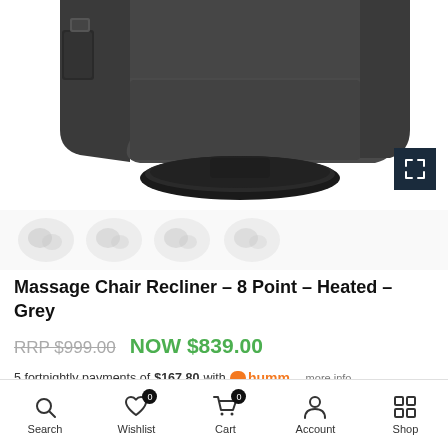[Figure (photo): Dark grey massage chair recliner product photo, showing bottom portion of the chair with side pocket and round base, on white background. An expand/fullscreen icon button appears in the lower right of the image.]
[Figure (other): Thumbnail image strip showing multiple angle views of the chair, rendered as faded circular/rounded square thumbnails]
Massage Chair Recliner – 8 Point – Heated – Grey
RRP $999.00  NOW $839.00
5 fortnightly payments of $167.80 with humm  more info
Search  Wishlist (0)  Cart (0)  Account  Shop